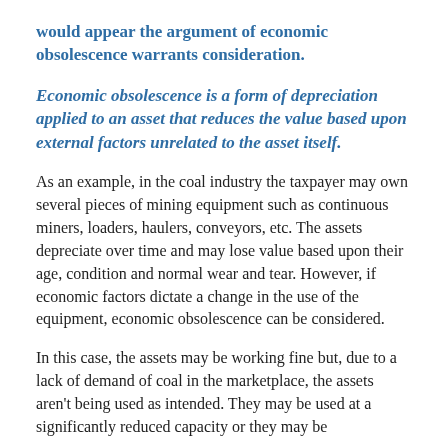would appear the argument of economic obsolescence warrants consideration.
Economic obsolescence is a form of depreciation applied to an asset that reduces the value based upon external factors unrelated to the asset itself.
As an example, in the coal industry the taxpayer may own several pieces of mining equipment such as continuous miners, loaders, haulers, conveyors, etc. The assets depreciate over time and may lose value based upon their age, condition and normal wear and tear. However, if economic factors dictate a change in the use of the equipment, economic obsolescence can be considered.
In this case, the assets may be working fine but, due to a lack of demand of coal in the marketplace, the assets aren't being used as intended. They may be used at a significantly reduced capacity or they may be